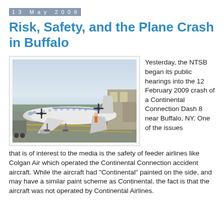13 May 2009
Risk, Safety, and the Plane Crash in Buffalo
[Figure (photo): A white turboprop aircraft (Continental Connection Dash 8) parked at an airport gate, viewed from the front-left side. Airport ground equipment visible. Sky is light blue/purple.]
Yesterday, the NTSB began its public hearings into the 12 February 2009 crash of a Continental Connection Dash 8 near Buffalo, NY. One of the issues that is of interest to the media is the safety of feeder airlines like Colgan Air which operated the Continental Connection accident aircraft. While the aircraft had "Continental" painted on the side, and may have a similar paint scheme as Continental, the fact is that the aircraft was not operated by Continental Airlines.